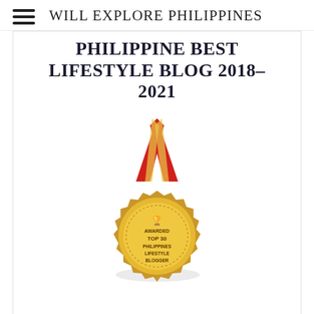WILL EXPLORE PHILIPPINES
PHILIPPINE BEST LIFESTYLE BLOG 2018–2021
[Figure (illustration): Gold medal award badge with red ribbon. The badge reads: AWARDED TOP 30 PHILIPPINES LIFESTYLE BLOGGER]
BEST LIFESTYLE BLOG